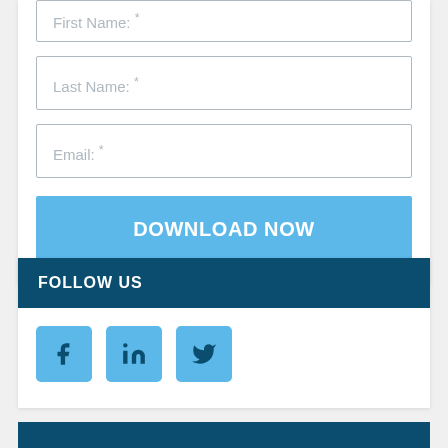First Name: *
Last Name: *
Email: *
DOWNLOAD NOW
FOLLOW US
[Figure (illustration): Three social media icon buttons: Facebook (f), LinkedIn (in), Twitter (bird icon), all with light blue background]